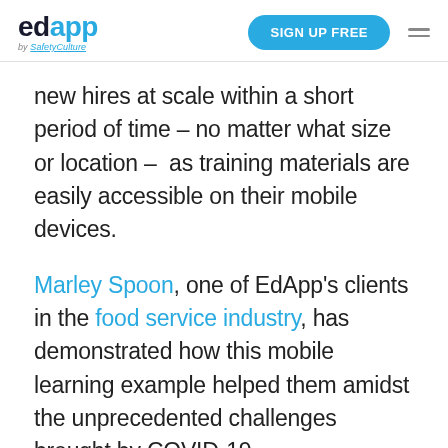edapp by SafetyCulture | SIGN UP FREE
new hires at scale within a short period of time – no matter what size or location –  as training materials are easily accessible on their mobile devices.
Marley Spoon, one of EdApp's clients in the food service industry, has demonstrated how this mobile learning example helped them amidst the unprecedented challenges brought by COVID-19.